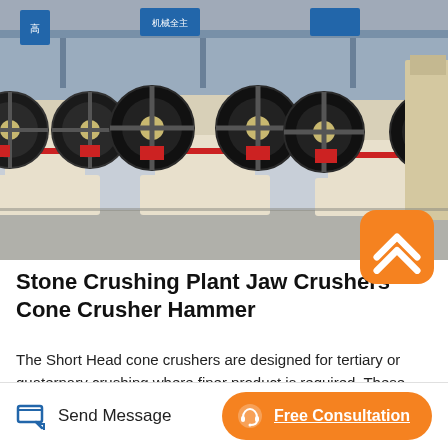[Figure (photo): Industrial jaw crushers and cone crushers lined up in a factory/warehouse setting. Machines are cream/beige colored with large black flywheels and red accent details. Chinese text visible on signs in background.]
Stone Crushing Plant Jaw Crushers Cone Crusher Hammer
The Short Head cone crushers are designed for tertiary or quaternary crushing where finer product is required. These crushers are invariably operated in closed circuit. Centrifugal separator In the centrifugal separator unit, bone marrow and fats are expelled out of a perforated tank leaving the crushed bones in the bottom. 4.Main